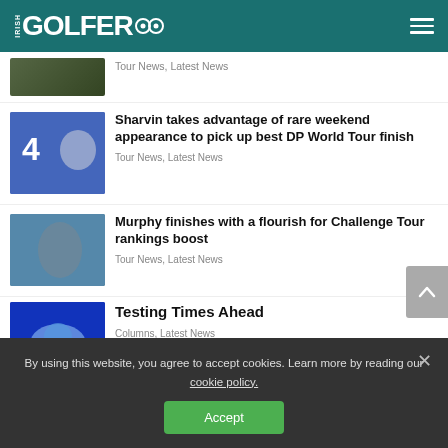IRISH GOLFER
Tour News, Latest News
Sharvin takes advantage of rare weekend appearance to pick up best DP World Tour finish
Tour News, Latest News
Murphy finishes with a flourish for Challenge Tour rankings boost
Tour News, Latest News
Testing Times Ahead
Columns, Latest News
By using this website, you agree to accept cookies. Learn more by reading our cookie policy.